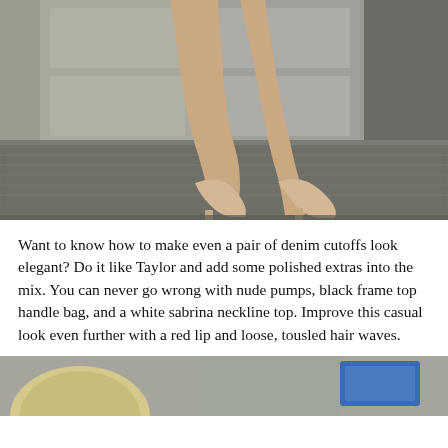[Figure (photo): Close-up photo of a woman's legs wearing nude/beige high heel pumps, standing on metal diamond-plate steps in front of grey double doors.]
Want to know how to make even a pair of denim cutoffs look elegant? Do it like Taylor and add some polished extras into the mix. You can never go wrong with nude pumps, black frame top handle bag, and a white sabrina neckline top. Improve this casual look even further with a red lip and loose, tousled hair waves.
[Figure (photo): Bottom portion of a photo showing a blonde woman outdoors on a street.]